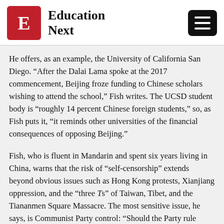Education Next
He offers, as an example, the University of California San Diego. “After the Dalai Lama spoke at the 2017 commencement, Beijing froze funding to Chinese scholars wishing to attend the school,” Fish writes. The UCSD student body is “roughly 14 percent Chinese foreign students,” so, as Fish puts it, “it reminds other universities of the financial consequences of opposing Beijing.”
Fish, who is fluent in Mandarin and spent six years living in China, warns that the risk of “self-censorship” extends beyond obvious issues such as Hong Kong protests, Xianjiang oppression, and the “three Ts” of Taiwan, Tibet, and the Tiananmen Square Massacre. The most sensitive issue, he says, is Communist Party control: “Should the Party rule China? And if not, what should